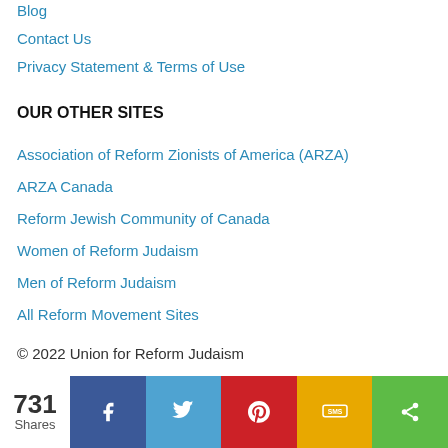Blog
Contact Us
Privacy Statement & Terms of Use
OUR OTHER SITES
Association of Reform Zionists of America (ARZA)
ARZA Canada
Reform Jewish Community of Canada
Women of Reform Judaism
Men of Reform Judaism
All Reform Movement Sites
© 2022 Union for Reform Judaism
[Figure (infographic): Social share bar with 731 Shares count and buttons for Facebook, Twitter, Pinterest, SMS, and general share]